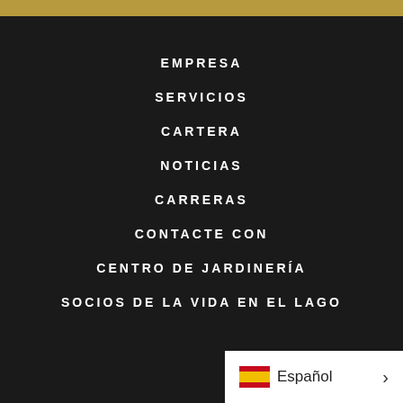EMPRESA
SERVICIOS
CARTERA
NOTICIAS
CARRERAS
CONTACTE CON
CENTRO DE JARDINERÍA
SOCIOS DE LA VIDA EN EL LAGO
Español